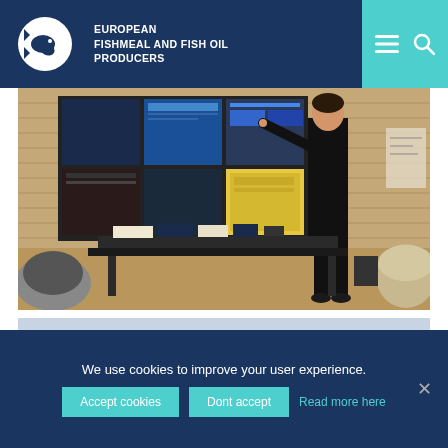EUROPEAN FISHMEAL AND FISH OIL PRODUCERS
[Figure (photo): A man in a black shirt pointing at large multi-screen display wall showing software interfaces, with two other people seated in the foreground observing, in a modern conference/control room with wood panel walls.]
We use cookies to improve your user experience.
Accept cookies   Dont accept   Read more here